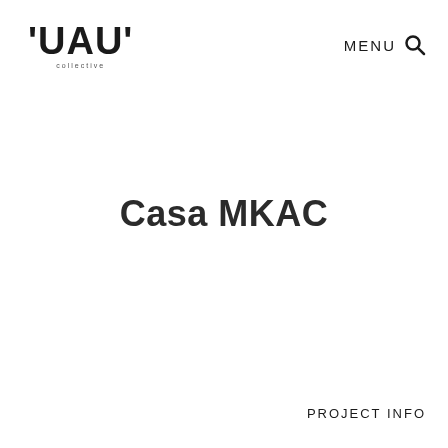'UAU' collective
MENU 🔍
Casa MKAC
PROJECT INFO